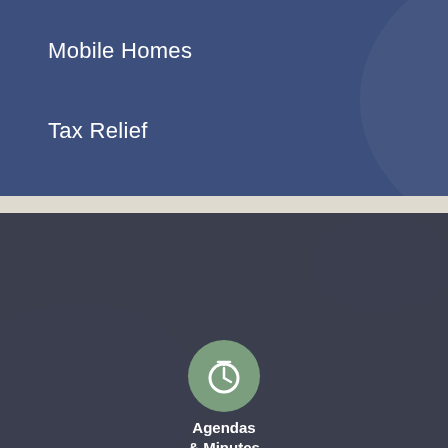Mobile Homes
Tax Relief
[Figure (infographic): Green circle icon with document/checklist and checkmark symbol, labeled Bids]
Bids
[Figure (infographic): Green circle icon with map marker and person/GIS symbol, labeled GIS]
GIS
[Figure (infographic): Green circle icon with stopwatch/timer symbol, labeled Agendas & Minutes]
Agendas & Minutes
[Figure (infographic): Red circle icon with WiFi symbol, partially visible at bottom]